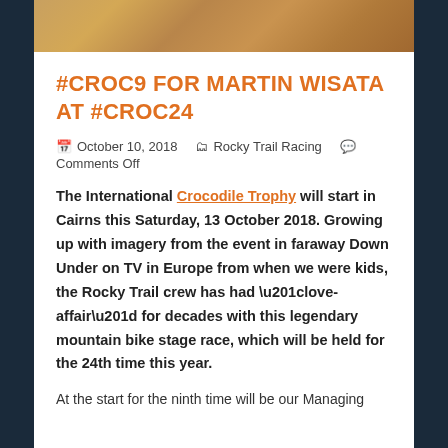[Figure (photo): Hero image of a dusty dirt trail landscape, rocky terrain with brown/orange earth tones]
#CROC9 FOR MARTIN WISATA AT #CROC24
October 10, 2018   Rocky Trail Racing   Comments Off
The International Crocodile Trophy will start in Cairns this Saturday, 13 October 2018. Growing up with imagery from the event in faraway Down Under on TV in Europe from when we were kids, the Rocky Trail crew has had “love-affair” for decades with this legendary mountain bike stage race, which will be held for the 24th time this year.
At the start for the ninth time will be our Managing